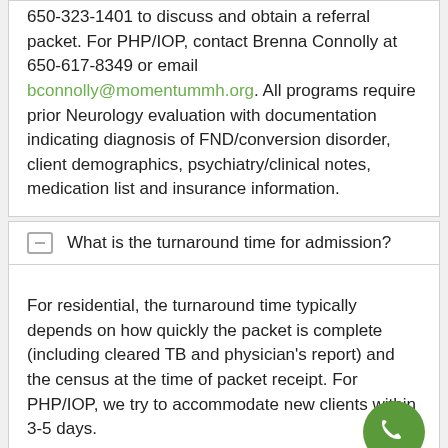650-323-1401 to discuss and obtain a referral packet. For PHP/IOP, contact Brenna Connolly at 650-617-8349 or email bconnolly@momentummh.org. All programs require prior Neurology evaluation with documentation indicating diagnosis of FND/conversion disorder, client demographics, psychiatry/clinical notes, medication list and insurance information.
What is the turnaround time for admission?
For residential, the turnaround time typically depends on how quickly the packet is complete (including cleared TB and physician's report) and the census at the time of packet receipt. For PHP/IOP, we try to accommodate new clients within 3-5 days.